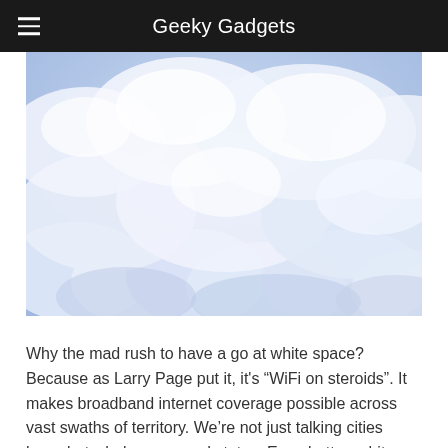Geeky Gadgets
[Figure (photo): Close-up photograph of white fluffy cumulus clouds against a light blue sky]
Why the mad rush to have a go at white space? Because as Larry Page put it, it's “WiFi on steroids”. It makes broadband internet coverage possible across vast swaths of territory. We’re not just talking cities here, but whole areas and states. Even better, white